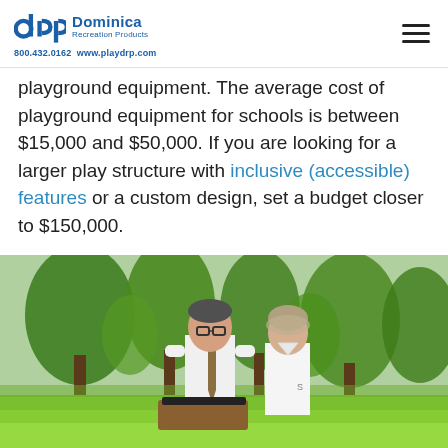DRP Dominica Recreation Products | 800.432.0162 www.playdrp.com
playground equipment. The average cost of playground equipment for schools is between $15,000 and $50,000. If you are looking for a larger play structure with inclusive (accessible) features or a custom design, set a budget closer to $150,000.
[Figure (photo): Two adults (a man in a white shirt and tie and a woman in a white shirt) standing outdoors in a park setting, reviewing a large book or binder together. Green trees and a grassy lawn visible in the background.]